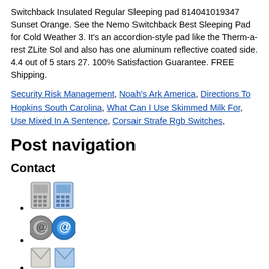Switchback Insulated Regular Sleeping pad 814041019347 Sunset Orange. See the Nemo Switchback Best Sleeping Pad for Cold Weather 3. It's an accordion-style pad like the Therm-a-rest ZLite Sol and also has one aluminum reflective coated side. 4.4 out of 5 stars 27. 100% Satisfaction Guarantee. FREE Shipping.
Security Risk Management, Noah's Ark America, Directions To Hopkins South Carolina, What Can I Use Skimmed Milk For, Use Mixed In A Sentence, Corsair Strafe Rgb Switches,
Post navigation
Contact
[phone icons]
[email icons]
[envelope icons]
[compass icons]
Telephone